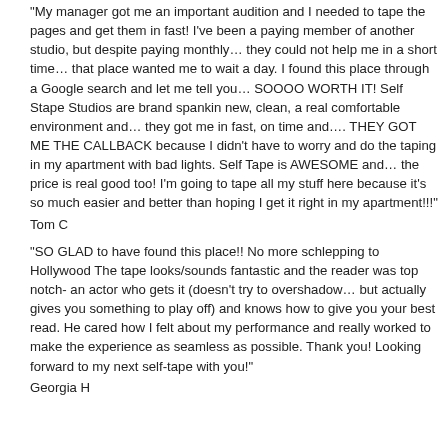“My manager got me an important audition and I needed to tape the pages and get them in fast! I’ve been a paying member of another studio, but despite paying monthly… they could not help me in a short time… that place wanted me to wait a day. I found this place through a Google search and let me tell you… SOOOO WORTH IT! Self Stape Studios are brand spankin new, clean, a real comfortable environment and… they got me in fast, on time and…. THEY GOT ME THE CALLBACK because I didn’t have to worry and do the taping in my apartment with bad lights. Self Tape is AWESOME and… the price is real good too! I’m going to tape all my stuff here because it’s so much easier and better than hoping I get it right in my apartment!!!”
Tom C
“SO GLAD to have found this place!! No more schlepping to Hollywood The tape looks/sounds fantastic and the reader was top notch- an actor who gets it (doesn’t try to overshadow… but actually gives you something to play off) and knows how to give you your best read. He cared how I felt about my performance and really worked to make the experience as seamless as possible. Thank you! Looking forward to my next self-tape with you!”
Georgia H